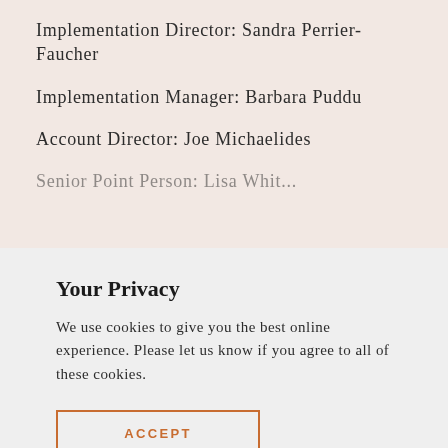Implementation Director: Sandra Perrier-Faucher
Implementation Manager: Barbara Puddu
Account Director: Joe Michaelides
Senior Point Person: Lisa Whit...
Your Privacy
We use cookies to give you the best online experience. Please let us know if you agree to all of these cookies.
ACCEPT